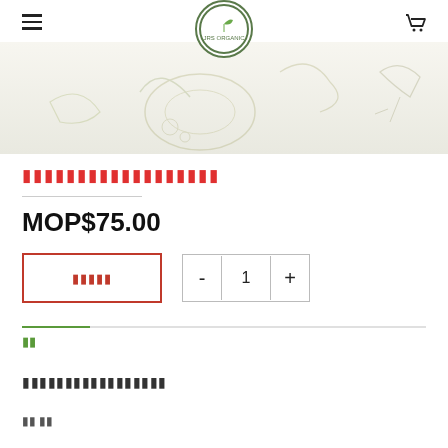[Figure (logo): JRS Organic circular logo with green plant icon and text]
[Figure (illustration): Hero banner with light beige background and faint vegetable/organic line art illustrations]
（Chinese characters - product name in red）
MOP$75.00
加入購物車 (Add to cart button) and quantity selector with - 1 +
詳情
（Chinese characters - product description section）
出產 地點